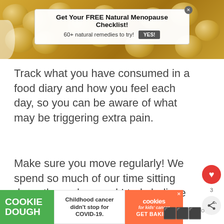[Figure (photo): Close-up photo of soybeans/legumes in golden-tan color, used as article header image]
[Figure (infographic): Advertisement overlay on banner: 'Get Your FREE Natural Menopause Checklist! 60+ natural remedies to try!' with YES! button]
Track what you have consumed in a food diary and how you feel each day, so you can be aware of what may be triggering extra pain.
Make sure you move regularly! We spend so much of our time sitting down these days and I truly believe sitting is the new smoking. Get a standing desk, take regular breaks and set an alarm on your computer or your phone to prompt you to get up regularly.
[Figure (infographic): Cookie Dough advertisement: 'Childhood cancer didn't stop for COVID-19.' with 'cookies for kids cancer GET BAKING' branding]